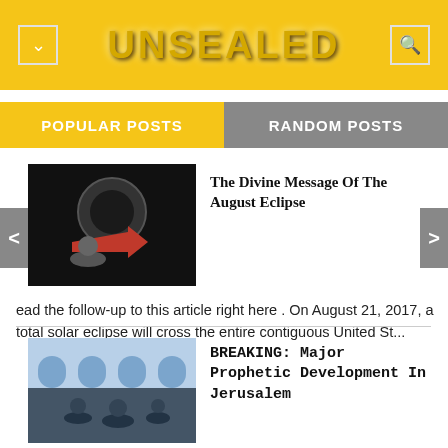UNSEALED
POPULAR POSTS
RANDOM POSTS
[Figure (screenshot): Thumbnail image showing dark background with a red arrow, for eclipse article]
The Divine Message Of The August Eclipse
ead the follow-up to this article right here . On August 21, 2017, a total solar eclipse will cross the entire contiguous United St...
[Figure (photo): Thumbnail image showing people in Jerusalem with arched windows in background]
BREAKING: Major Prophetic Development In Jerusalem
I'm not sure how to convey to you both the seriousness and awesomeness of what may be transpiring in Israel.  In short, the Jord...